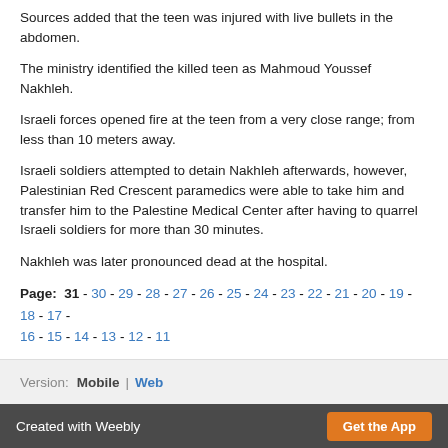Sources added that the teen was injured with live bullets in the abdomen.
The ministry identified the killed teen as Mahmoud Youssef Nakhleh.
Israeli forces opened fire at the teen from a very close range; from less than 10 meters away.
Israeli soldiers attempted to detain Nakhleh afterwards, however, Palestinian Red Crescent paramedics were able to take him and transfer him to the Palestine Medical Center after having to quarrel Israeli soldiers for more than 30 minutes.
Nakhleh was later pronounced dead at the hospital.
Page: 31 - 30 - 29 - 28 - 27 - 26 - 25 - 24 - 23 - 22 - 21 - 20 - 19 - 18 - 17 - 16 - 15 - 14 - 13 - 12 - 11
Version: Mobile | Web
Created with Weebly  Get the App